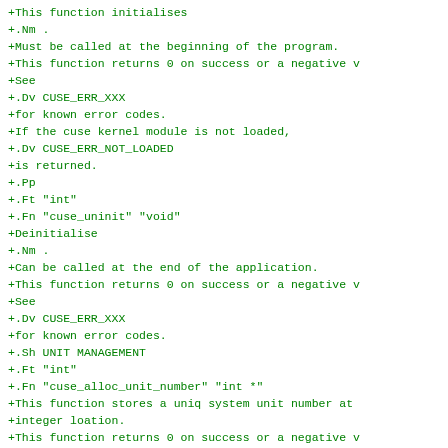+This function initialises
+.Nm .
+Must be called at the beginning of the program.
+This function returns 0 on success or a negative v
+See
+.Dv CUSE_ERR_XXX
+for known error codes.
+If the cuse kernel module is not loaded,
+.Dv CUSE_ERR_NOT_LOADED
+is returned.
+.Pp
+.Ft "int"
+.Fn "cuse_uninit" "void"
+Deinitialise
+.Nm .
+Can be called at the end of the application.
+This function returns 0 on success or a negative v
+See
+.Dv CUSE_ERR_XXX
+for known error codes.
+.Sh UNIT MANAGEMENT
+.Ft "int"
+.Fn "cuse_alloc_unit_number" "int *"
+This function stores a uniq system unit number at
+integer loation.
+This function returns 0 on success or a negative v
+See
+.Dv CUSE_ERR_XXX
+for known error codes.
+.Pp
+.Ft "int"